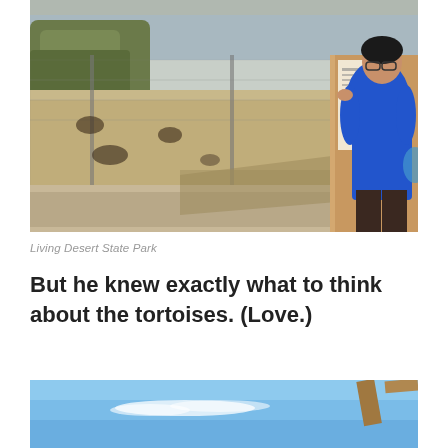[Figure (photo): A person wearing a blue hoodie and glasses reading a sign at what appears to be a tortoise enclosure at Living Desert State Park. Chain-link fencing and sandy enclosure visible.]
Living Desert State Park
But he knew exactly what to think about the tortoises. (Love.)
[Figure (photo): Partial view of a blue sky with wispy clouds and the edge of a wooden structure in the upper right corner.]